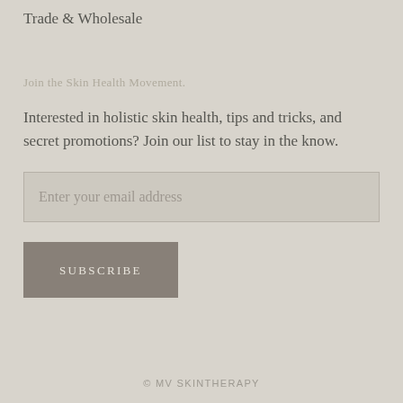Trade & Wholesale
Join the Skin Health Movement.
Interested in holistic skin health, tips and tricks, and secret promotions? Join our list to stay in the know.
Enter your email address
SUBSCRIBE
© MV SKINTHERAPY